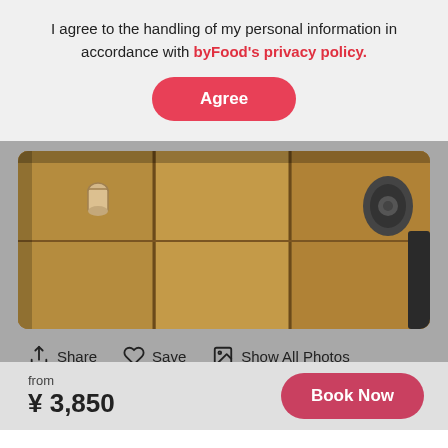I agree to the handling of my personal information in accordance with byFood's privacy policy.
Agree
[Figure (photo): Photo of a wooden table top viewed from above, with a small cup and a Bluetooth speaker visible on the surface]
Share  Save  Show All Photos
from ¥ 3,850
Book Now